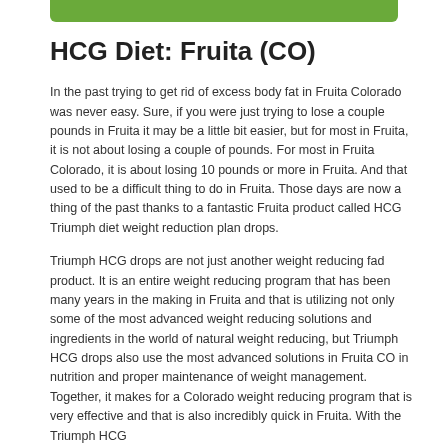[Figure (other): Green decorative bar at top of page]
HCG Diet: Fruita (CO)
In the past trying to get rid of excess body fat in Fruita Colorado was never easy. Sure, if you were just trying to lose a couple pounds in Fruita it may be a little bit easier, but for most in Fruita, it is not about losing a couple of pounds. For most in Fruita Colorado, it is about losing 10 pounds or more in Fruita. And that used to be a difficult thing to do in Fruita. Those days are now a thing of the past thanks to a fantastic Fruita product called HCG Triumph diet weight reduction plan drops.
Triumph HCG drops are not just another weight reducing fad product. It is an entire weight reducing program that has been many years in the making in Fruita and that is utilizing not only some of the most advanced weight reducing solutions and ingredients in the world of natural weight reducing, but Triumph HCG drops also use the most advanced solutions in Fruita CO in nutrition and proper maintenance of weight management. Together, it makes for a Colorado weight reducing program that is very effective and that is also incredibly quick in Fruita. With the Triumph HCG